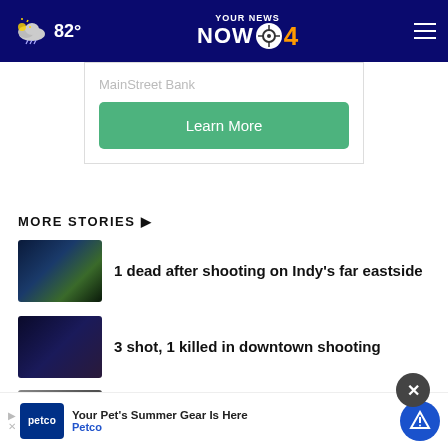82° — YOUR NEWS NOW CBS 4
[Figure (screenshot): Ad banner for MainStreet Bank with Learn More button]
MORE STORIES ▶
1 dead after shooting on Indy's far eastside
3 shot, 1 killed in downtown shooting
Yakym gets GOP nod to replace late
Showers and thunderstorms in
[Figure (screenshot): Petco popup ad: Your Pet's Summer Gear Is Here]